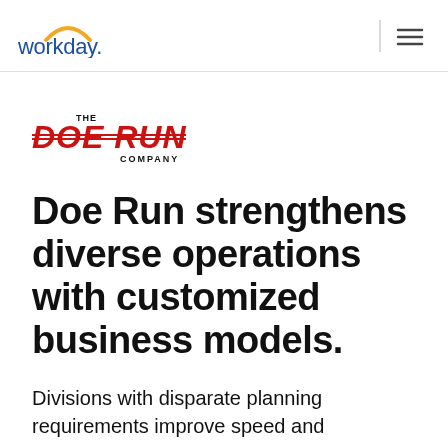workday.
[Figure (logo): The Doe Run Company logo with red bold text on white background]
Doe Run strengthens diverse operations with customized business models.
Divisions with disparate planning requirements improve speed and